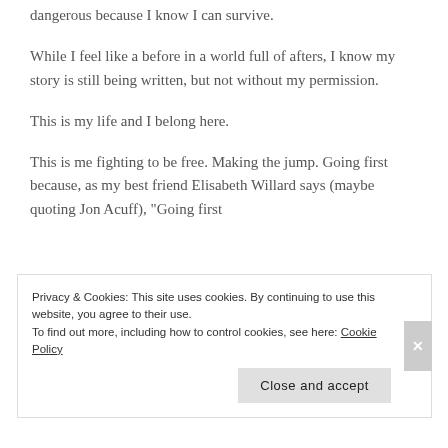dangerous because I know I can survive.
While I feel like a before in a world full of afters, I know my story is still being written, but not without my permission.
This is my life and I belong here.
This is me fighting to be free. Making the jump. Going first because, as my best friend Elisabeth Willard says (maybe quoting Jon Acuff), "Going first
Privacy & Cookies: This site uses cookies. By continuing to use this website, you agree to their use.
To find out more, including how to control cookies, see here: Cookie Policy
Close and accept